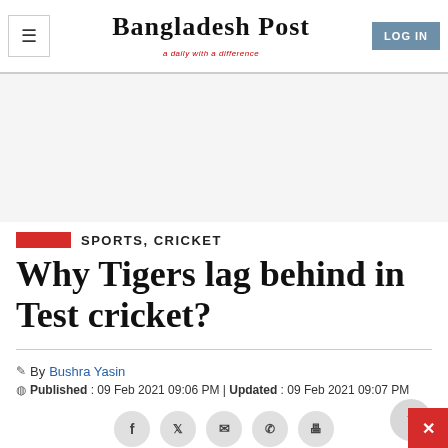Bangladesh Post — a daily with a difference | LOG IN
[Figure (other): Advertisement/blank grey area]
SPORTS, CRICKET
Why Tigers lag behind in Test cricket?
By Bushra Yasin
Published : 09 Feb 2021 09:06 PM | Updated : 09 Feb 2021 09:07 PM